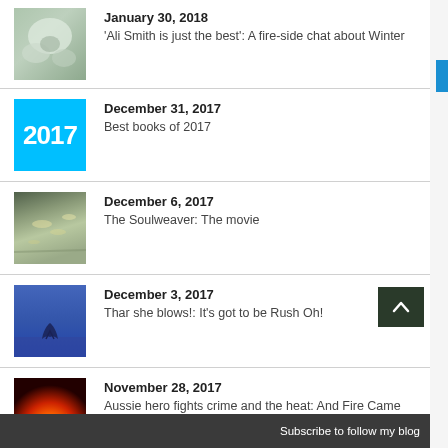January 30, 2018
'Ali Smith is just the best': A fire-side chat about Winter
December 31, 2017
Best books of 2017
December 6, 2017
The Soulweaver: The movie
December 3, 2017
Thar she blows!: It's got to be Rush Oh!
November 28, 2017
Aussie hero fights crime and the heat: And Fire Came Down
Subscribe to follow my blog